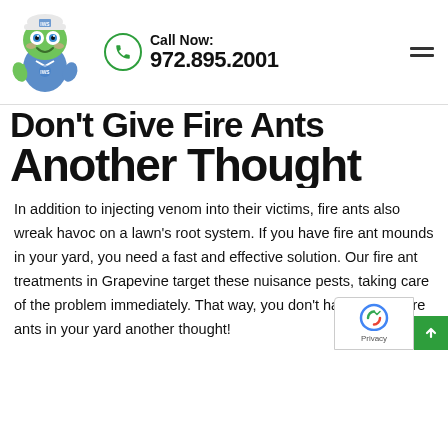[Figure (logo): Green frog mascot character wearing a blue uniform and cap, giving a thumbs up]
Call Now: 972.895.2001
Don't Give Fire Ants Another Thought
In addition to injecting venom into their victims, fire ants also wreak havoc on a lawn's root system. If you have fire ant mounds in your yard, you need a fast and effective solution. Our fire ant treatments in Grapevine target these nuisance pests, taking care of the problem immediately. That way, you don't have to give fire ants in your yard another thought!